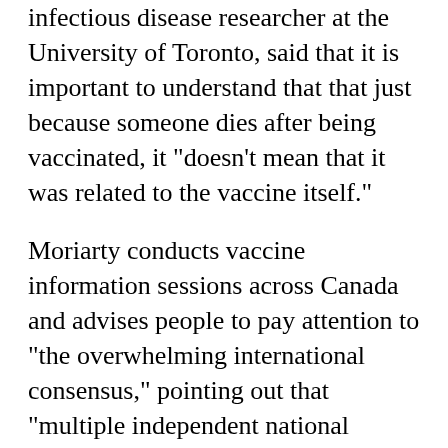infectious disease researcher at the University of Toronto, said that it is important to understand that that just because someone dies after being vaccinated, it "doesn't mean that it was related to the vaccine itself."
Moriarty conducts vaccine information sessions across Canada and advises people to pay attention to "the overwhelming international consensus," pointing out that "multiple independent national regulatory agencies all over the world" are studying data from their populations -- not the pharmaceutical